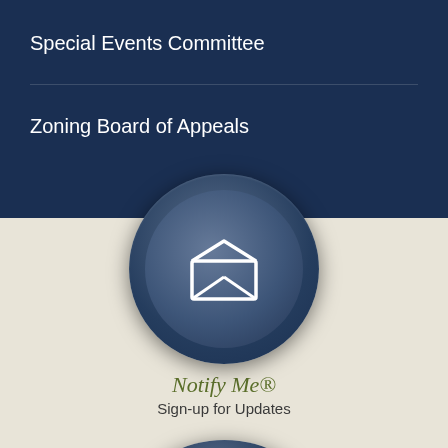Special Events Committee
Zoning Board of Appeals
[Figure (illustration): Blue circular button with open envelope icon representing a notification/email sign-up widget]
Notify Me®
Sign-up for Updates
[Figure (illustration): Blue circular button partially visible at bottom of page, part of sign-up widget]